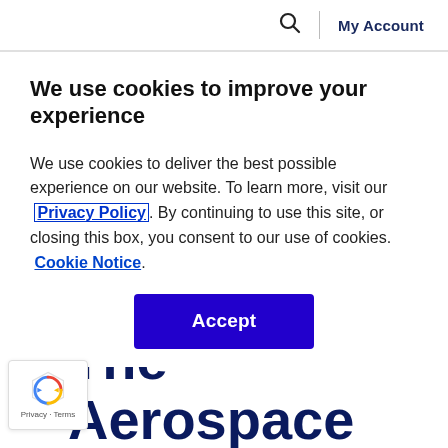🔍 | My Account
We use cookies to improve your experience
We use cookies to deliver the best possible experience on our website. To learn more, visit our  Privacy Policy. By continuing to use this site, or closing this box, you consent to our use of cookies.  Cookie Notice.
Accept
The Aerospace and Defense